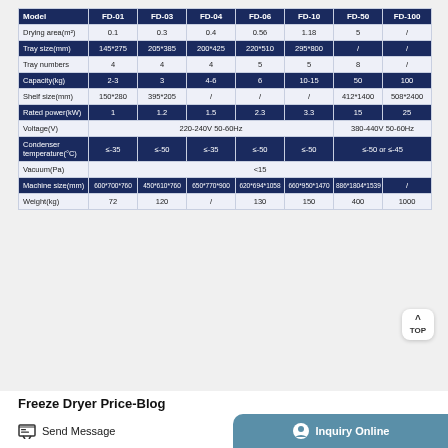| Model | FD-01 | FD-03 | FD-04 | FD-06 | FD-10 | FD-50 | FD-100 |
| --- | --- | --- | --- | --- | --- | --- | --- |
| Drying area(m²) | 0.1 | 0.3 | 0.4 | 0.56 | 1.18 | 5 | / |
| Tray size(mm) | 145*275 | 205*385 | 200*425 | 220*510 | 295*800 | / | / |
| Tray numbers | 4 | 4 | 4 | 5 | 5 | 8 | / |
| Capacity(kg) | 2-3 | 3 | 4-6 | 6 | 10-15 | 50 | 100 |
| Shelf size(mm) | 150*280 | 395*205 | / | / | / | 412*1400 | 508*2400 |
| Rated power(kW) | 1 | 1.2 | 1.5 | 2.3 | 3.3 | 15 | 25 |
| Voltage(V) | 220-240V  50-60Hz |  |  |  |  | 380-440V  50-60Hz |  |
| Condenser temperature(°C) | ≤-35 | ≤-50 | ≤-35 | ≤-50 | ≤-50 | ≤-50 or ≤-45 |  |
| Vacuum(Pa) | <15 |  |  |  |  |  |  |
| Machine size(mm) | 600*700*760 | 450*610*760 | 650*770*900 | 620*694*1058 | 660*950*1470 | 886*1804*1539 | / |
| Weight(kg) | 72 | 120 | / | 130 | 150 | 400 | 1000 |
Freeze Dryer Price-Blog
Send Message
Inquiry Online